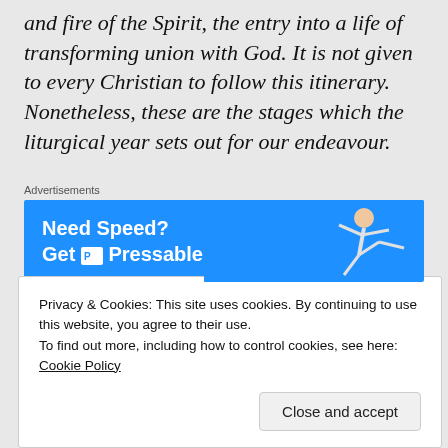and fire of the Spirit, the entry into a life of transforming union with God. It is not given to every Christian to follow this itinerary. Nonetheless, these are the stages which the liturgical year sets out for our endeavour.
Advertisements
[Figure (screenshot): Blue advertisement banner reading 'Need Speed? Get Pressable' with a person running/leaping figure on the right side]
Privacy & Cookies: This site uses cookies. By continuing to use this website, you agree to their use.
To find out more, including how to control cookies, see here: Cookie Policy
Close and accept